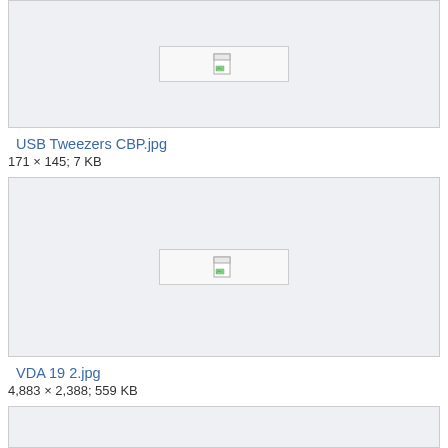[Figure (other): Broken image placeholder for USB Tweezers CBP.jpg]
USB Tweezers CBP.jpg
171 × 145; 7 KB
[Figure (other): Broken image placeholder for VDA 19 2.jpg]
VDA 19 2.jpg
4,883 × 2,388; 559 KB
[Figure (other): Broken image placeholder for next image (partially visible)]